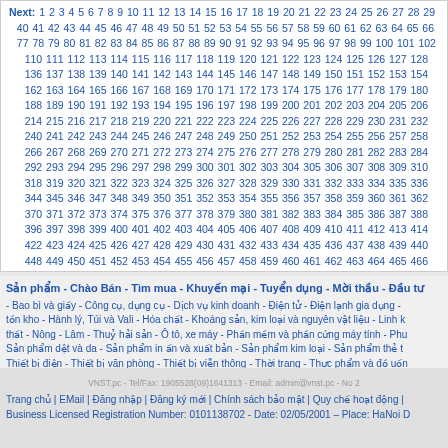Next: 1 2 3 4 5 6 7 8 9 10 11 12 13 14 15 16 17 18 19 20 21 22 23 24 25 26 27 28 29 40 41 42 43 44 45 46 47 48 49 50 51 52 53 54 55 56 57 58 59 60 61 62 63 64 65 66 77 78 79 80 81 82 83 84 85 86 87 88 89 90 91 92 93 94 95 96 97 98 99 100 101 102 110 111 112 113 114 115 116 117 118 119 120 121 122 123 124 125 126 127 128 136 137 138 139 140 141 142 143 144 145 146 147 148 149 150 151 152 153 154 162 163 164 165 166 167 168 169 170 171 172 173 174 175 176 177 178 179 180 188 189 190 191 192 193 194 195 196 197 198 199 200 201 202 203 204 205 206 214 215 216 217 218 219 220 221 222 223 224 225 226 227 228 229 230 231 232 240 241 242 243 244 245 246 247 248 249 250 251 252 253 254 255 256 257 258 266 267 268 269 270 271 272 273 274 275 276 277 278 279 280 281 282 283 284 292 293 294 295 296 297 298 299 300 301 302 303 304 305 306 307 308 309 310 318 319 320 321 322 323 324 325 326 327 328 329 330 331 332 333 334 335 336 344 345 346 347 348 349 350 351 352 353 354 355 356 357 358 359 360 361 362 370 371 372 373 374 375 376 377 378 379 380 381 382 383 384 385 386 387 388 396 397 398 399 400 401 402 403 404 405 406 407 408 409 410 411 412 413 414 422 423 424 425 426 427 428 429 430 431 432 433 434 435 436 437 438 439 440 448 449 450 451 452 453 454 455 456 457 458 459 460 461 462 463 464 465 466
Sản phẩm - Chào Bán - Tìm mua - Khuyến mại - Tuyển dụng - Mời thầu - Đầu tư
- Bao bì và giấy - Công cụ, dụng cụ - Dịch vụ kinh doanh - Điện tử - Điện lạnh gia dụng - tồn kho - Hành lý, Túi và Vali - Hóa chất - Khoáng sản, kim loại và nguyên vật liệu - Linh k thất - Nông - Lâm - Thuỷ hải sản - Ô tô, xe máy - Phần mềm và phần cứng máy tính - Phu Sản phẩm dệt và da - Sản phẩm in ấn và xuất bản - Sản phẩm kim loại - Sản phẩm thẻ t Thiết bị điện - Thiết bị văn phòng - Thiết bị viễn thông - Thời trang - Thực phẩm và đồ uốn
VNST.pc - Tel/Fax: 1905528(09)1641313 - Email: admin@vnst.pc - No 2
Trang chủ | EMail | Đăng nhập | Đăng ký mới | Chính sách bảo mật | Quy chế hoạt động | Business Licensed Registration Number: 0101138702 - Date: 02/05/2001 – Place: HaNoi D